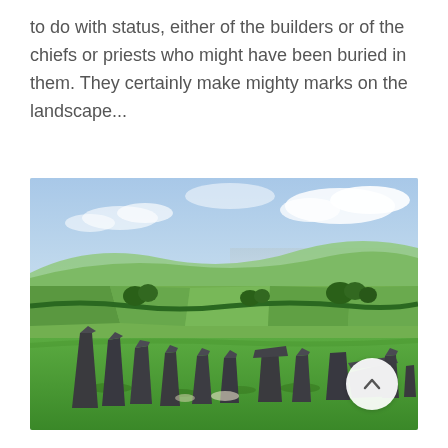to do with status, either of the builders or of the chiefs or priests who might have been buried in them. They certainly make mighty marks on the landscape...
[Figure (photo): Outdoor photograph of a megalithic stone circle (standing stones arranged in a ring) on a green grassy hillside, with rolling green fields, hedgerows, trees, and a glimpse of the sea and hazy coastal hills in the background under a partly cloudy blue sky. A scroll-up button with a chevron arrow is visible in the bottom-right corner of the image.]